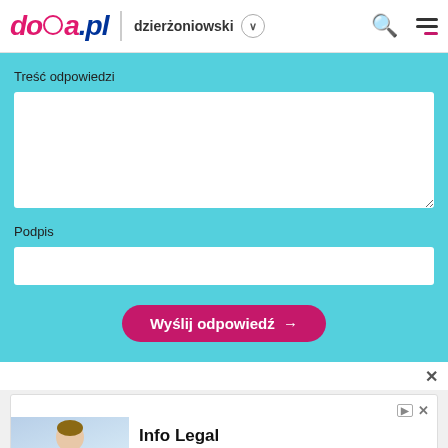doba.pl | dzierżoniowski
Treść odpowiedzi
Podpis
Wyślij odpowiedź →
[Figure (screenshot): Advertisement banner for Info Legal Matter Software by Prorateer with a Learn More button and a photo of a woman in business attire]